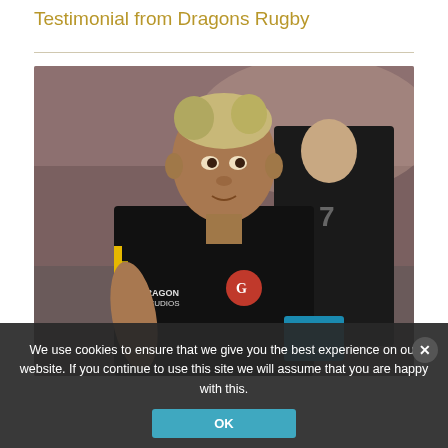Testimonial from Dragons Rugby
[Figure (photo): A Dragons Rugby player in a black kit with yellow accents and 'Dragon Studios' sponsor text, looking focused during a match. A second player in the same kit is visible in the background.]
We use cookies to ensure that we give you the best experience on our website. If you continue to use this site we will assume that you are happy with this.
OK
ongoing services.

Our mantra at Dragons Rugby is to surround ourselves with good people and partners and you are certainly one of those. 'We appreciate you going the extra mile when it comes to your